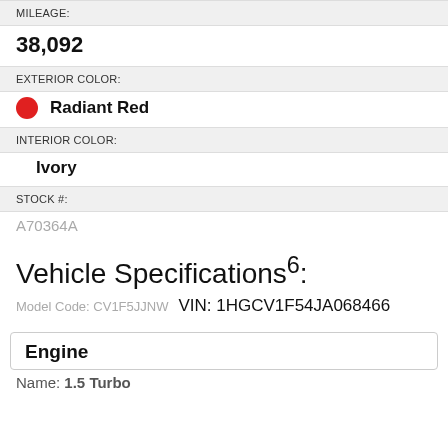MILEAGE:
38,092
EXTERIOR COLOR:
Radiant Red
INTERIOR COLOR:
Ivory
STOCK #:
A70364A
Vehicle Specifications6:
Model Code: CV1F5JJNW    VIN: 1HGCV1F54JA068466
Engine
Name: 1.5 Turbo